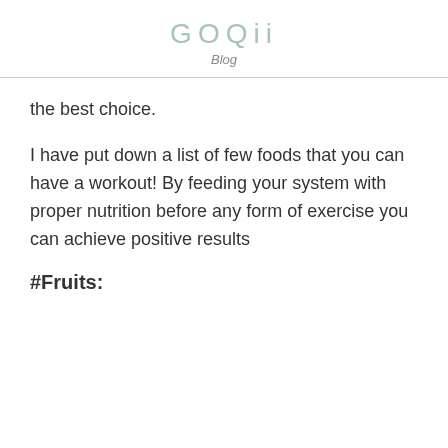GOQii
Blog
the best choice.
I have put down a list of few foods that you can have a workout! By feeding your system with proper nutrition before any form of exercise you can achieve positive results
#Fruits: